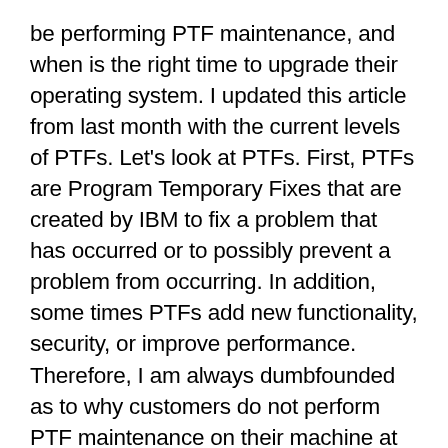be performing PTF maintenance, and when is the right time to upgrade their operating system. I updated this article from last month with the current levels of PTFs. Let's look at PTFs. First, PTFs are Program Temporary Fixes that are created by IBM to fix a problem that has occurred or to possibly prevent a problem from occurring. In addition, some times PTFs add new functionality, security, or improve performance. Therefore, I am always dumbfounded as to why customers do not perform PTF maintenance on their machine at least quarterly. If IBM has come out with a fix for your disk drives, why do you want to wait for your disk drive to fail with that problem, only to be told that there is a fix for that problem, and if you had applied the PTF beforehand, you would have averted the problem. Therefore, I think a quarterly PTF maintenance strategy is a smart move. Many of